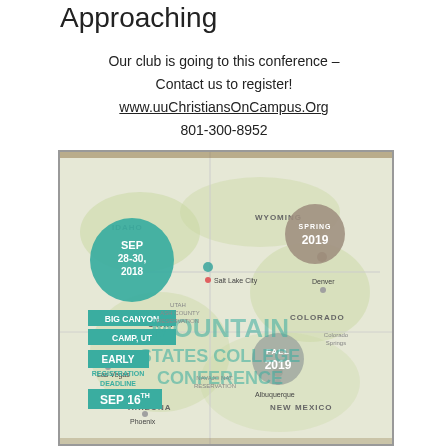Approaching
Our club is going to this conference –
Contact us to register!
www.uuChristiansOnCampus.Org
801-300-8952
[Figure (map): Mountain States College Conference map showing locations: SEP 28-30, 2018 at Big Canyon Camp, UT with Early Registration Deadline SEP 16; SPRING 2019 marker; FALL 2019 marker. Map covers Idaho, Wyoming, Utah, Colorado, Arizona, New Mexico area.]